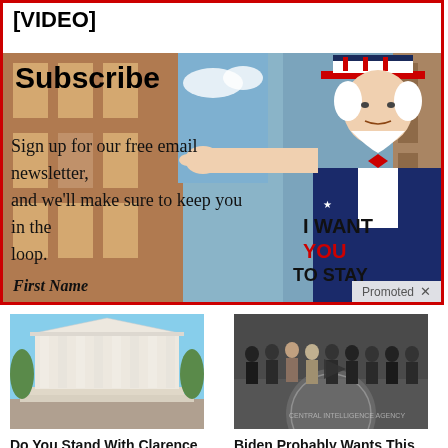[VIDEO]
[Figure (screenshot): Subscribe newsletter overlay with Uncle Sam 'I Want You To Stay' poster in background. Shows text: 'Subscribe', 'Sign up for our free email newsletter, and we’ll make sure to keep you in the loop.', 'First Name', 'I WANT YOU TO STAY'. Bottom right shows 'Promoted X' label.]
[Figure (photo): Photo of the US Supreme Court building with columns, blue sky background]
Do You Stand With Clarence Thomas? Tell Us Today
[Figure (photo): Photo of group of men in suits standing on CIA seal floor, with red circle highlight and play button overlay]
Biden Probably Wants This Video Destroyed — Massive Currency Upheaval Has Started
🔥 248,284